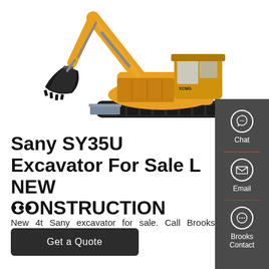[Figure (photo): Yellow XCMG/Sany mini excavator on white background, showing arm, bucket, cab, and undercarriage tracks with blade]
Sany SY35U Excavator For Sale L NEW CONSTRUCTION
...
New 4t Sany excavator for sale. Call Brooks Equipment for an excellent deal.
Get a Quote